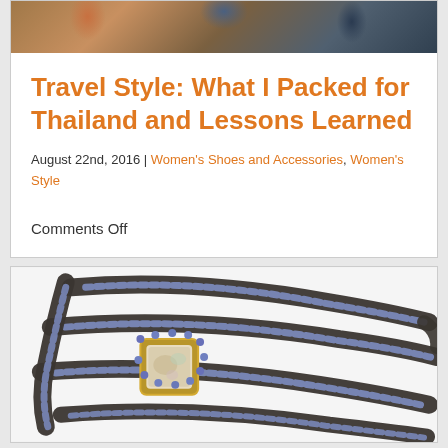[Figure (photo): Top strip showing partial photo of items on a wooden surface with colorful accessories]
Travel Style: What I Packed for Thailand and Lessons Learned
August 22nd, 2016 | Women's Shoes and Accessories, Women's Style
Comments Off
[Figure (photo): Close-up photo of a dark oxidized silver cuff bracelet with purple/blue gemstones and a central opal stone in a gold setting]